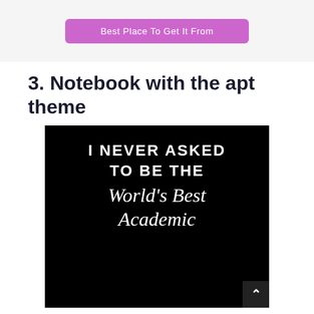[Figure (screenshot): Pink/purple button with text 'Best Place To Get It From' on a light grey background]
3. Notebook with the apt theme
[Figure (photo): Black notebook cover with white text reading 'I NEVER ASKED TO BE THE World's Best Academic']